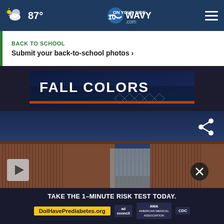87° WAVY.com On Your Side
BACK TO SCHOOL
Submit your back-to-school photos >
[Figure (photo): Fall Colors banner with dark blue aerial background and decorative diamond shapes]
[Figure (photo): Border fence/wall with brown metal slats and gate, dark blue sky background]
[Figure (other): Advertisement: TAKE THE 1-MINUTE RISK TEST TODAY. DoIHavePrediabetes.org with ad council, AMA, and CDC logos]